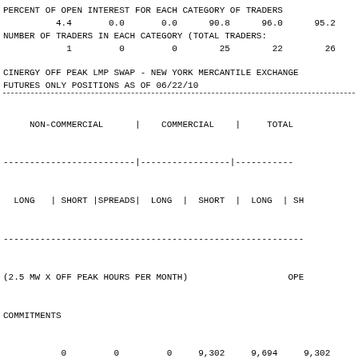PERCENT OF OPEN INTEREST FOR EACH CATEGORY OF TRADERS
4.4       0.0       0.0      90.8      96.0      95.2
NUMBER OF TRADERS IN EACH CATEGORY (TOTAL TRADERS:
1         0         0        25        22        26
CINERGY OFF PEAK LMP SWAP - NEW YORK MERCANTILE EXCHANGE
FUTURES ONLY POSITIONS AS OF 06/22/10
| NON-COMMERCIAL (LONG, SHORT, SPREADS) | COMMERCIAL (LONG, SHORT) | TOTAL (LONG, SH...) |
| --- | --- | --- |
| (2.5 MW X OFF PEAK HOURS PER MONTH) |  | OPEN |
| COMMITMENTS |  |  |
| 0 | 0 | 0 | 9,302 | 9,694 | 9,302 |
| CHANGES FROM 06/15/10 (CHANGE IN OPEN INTEREST: |  | 24 |
| 0 | 0 | 0 | 54 | 198 | 54 |
| PERCENT OF OPEN INTEREST FOR EACH CATEGORY OF TRADERS |  |  |
| 0.0 | 0.0 | 0.0 | 87.1 | 90.7 | 87.1 |
| NUMBER OF TRADERS IN EACH CATEGORY (TOTAL TRADERS: |  |  |
| 0 | 0 | 0 | 20 | 17 | 20 |
PJM N ILL PEAK DAY AHEAD - NEW YORK MERCANTILE EXCHANGE
FUTURES ONLY POSITIONS AS OF 06/22/10